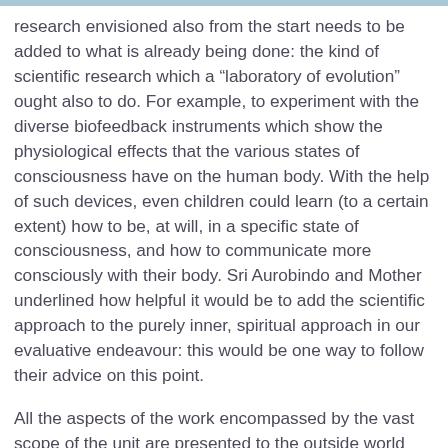research envisioned also from the start needs to be added to what is already being done: the kind of scientific research which a “laboratory of evolution” ought also to do. For example, to experiment with the diverse biofeedback instruments which show the physiological effects that the various states of consciousness have on the human body. With the help of such devices, even children could learn (to a certain extent) how to be, at will, in a specific state of consciousness, and how to communicate more consciously with their body. Sri Aurobindo and Mother underlined how helpful it would be to add the scientific approach to the purely inner, spiritual approach in our evaluative endeavour: this would be one way to follow their advice on this point.
All the aspects of the work encompassed by the vast scope of the unit are presented to the outside world through a big website/blog, which keeps being improved and made ever more supple, easy to access and to explore.